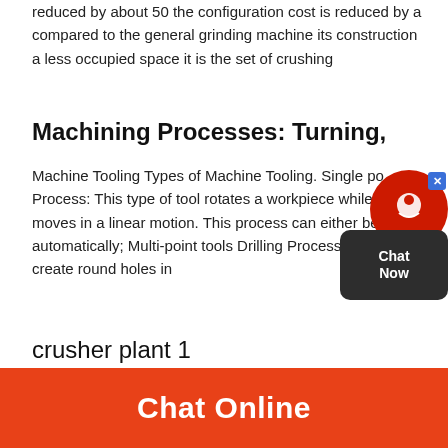reduced by about 50 the configuration cost is reduced by a compared to the general grinding machine its construction a less occupied space it is the set of crushing
Machining Processes: Turning, Mill
Machine Tooling Types of Machine Tooling. Single po Process: This type of tool rotates a workpiece while t moves in a linear motion. This process can either be automatically; Multi-point tools Drilling Process: Tool create round holes in
crusher plant 1
Chat Online